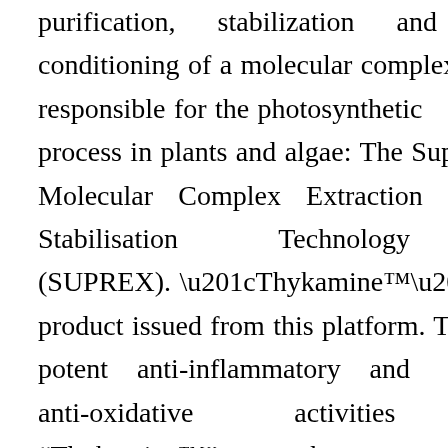purification, stabilization and conditioning of a molecular complex responsible for the photosynthetic process in plants and algae: The Supra Molecular Complex Extraction and Stabilisation Technology (SUPREX). “Thykamine™” is the first product issued from this platform. The potent anti-inflammatory and anti-oxidative activities of “Thykamine™” have been demonstrated in several pre-clinical experiments as